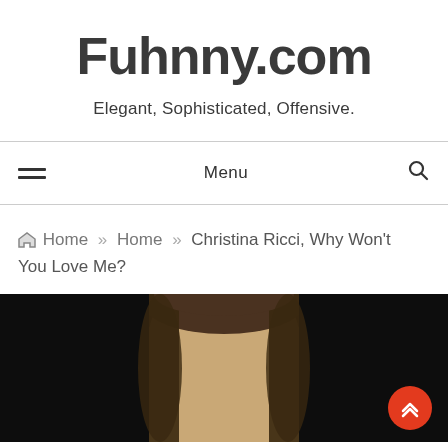Fuhnny.com
Elegant, Sophisticated, Offensive.
Menu
Home » Home » Christina Ricci, Why Won't You Love Me?
[Figure (photo): Photo of a woman with brown hair against a dark/black background, partially cropped. An orange circular scroll-to-top button is visible in the lower right corner.]